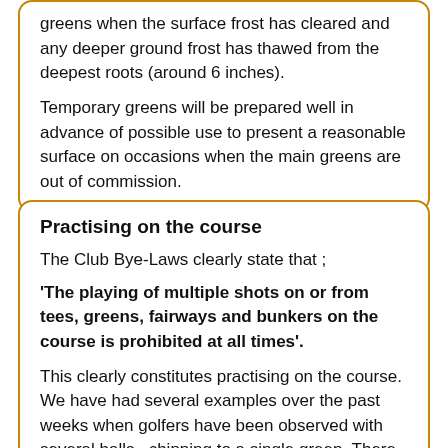greens when the surface frost has cleared and any deeper ground frost has thawed from the deepest roots (around 6 inches).
Temporary greens will be prepared well in advance of possible use to present a reasonable surface on occasions when the main greens are out of commission.
Practising on the course
The Club Bye-Laws clearly state that ;
'The playing of multiple shots on or from tees, greens, fairways and bunkers on the course is prohibited at all times'.
This clearly constitutes practising on the course.
We have had several examples over the past weeks when golfers have been observed with several balls , chipping to a single green. There has also been